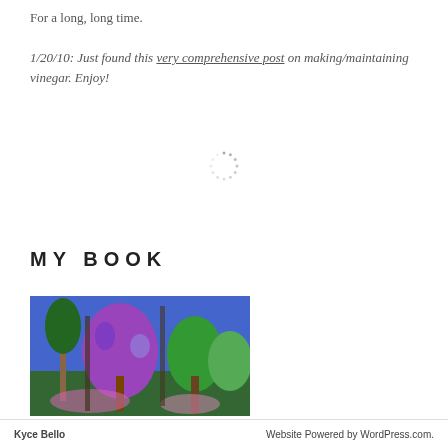For a long, long time.
1/20/10: Just found this very comprehensive post on making/maintaining vinegar. Enjoy!
[Figure (other): Loading spinner / activity indicator circle made of dots]
MY BOOK
[Figure (illustration): Colorful illustration/painting of a forest scene with purple, green, and blue trees against a blue sky]
Kyce Bello    Website Powered by WordPress.com.